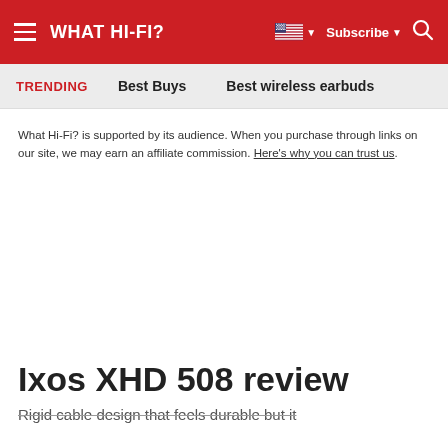WHAT HI-FI?
TRENDING   Best Buys   Best wireless earbuds
What Hi-Fi? is supported by its audience. When you purchase through links on our site, we may earn an affiliate commission. Here's why you can trust us.
Ixos XHD 508 review
Rigid cable design that feels durable but it